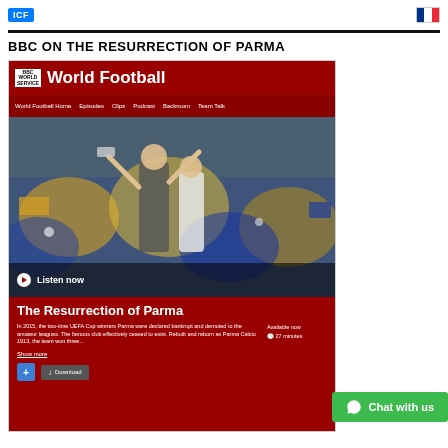[Figure (logo): Blue logo box on left, French flag on right]
BBC ON THE RESURRECTION OF PARMA
[Figure (screenshot): BBC World Football webpage screenshot showing 'The Resurrection of Parma' audio programme with crowd celebration photo, navigation menu, programme description, and download button]
[Figure (other): Green WhatsApp-style 'Chat with us' button in bottom-right]